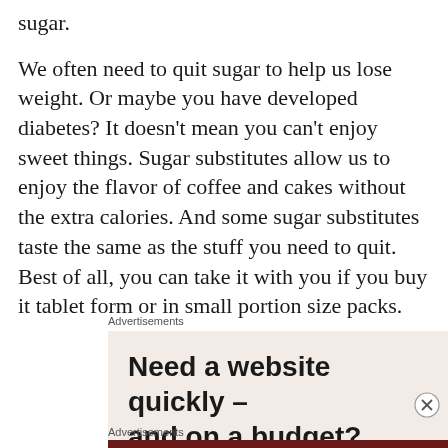sugar.
We often need to quit sugar to help us lose weight. Or maybe you have developed diabetes? It doesn't mean you can't enjoy sweet things. Sugar substitutes allow us to enjoy the flavor of coffee and cakes without the extra calories. And some sugar substitutes taste the same as the stuff you need to quit. Best of all, you can take it with you if you buy it tablet form or in small portion size packs.
Advertisements
[Figure (infographic): Advertisement box with beige/cream background containing text: 'Need a website quickly – and on a budget?']
Advertisements
[Figure (photo): Bottom strip of a dark red/maroon advertisement image, partially visible]